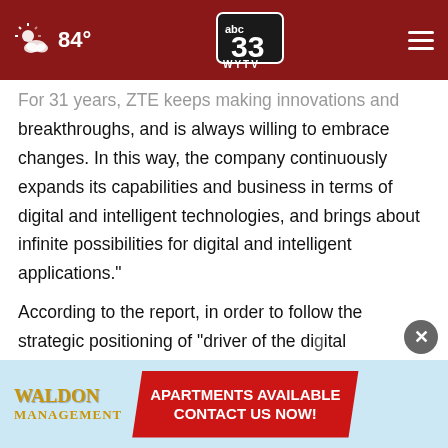84° | ABC 33 WYTV
For 31 years, ZTE keeps making innovations and breakthroughs, and is always willing to embrace changes. In this way, the company continuously expands its capabilities and business in terms of digital and intelligent technologies, and brings about infinite possibilities for digital and intelligent applications."
According to the report, in order to follow the strategic positioning of "driver of the digital economy"...innov...
[Figure (other): Waldon Management advertisement banner: 'APARTMENTS AVAILABLE CONTACT US NOW!' with red banner on light blue background]